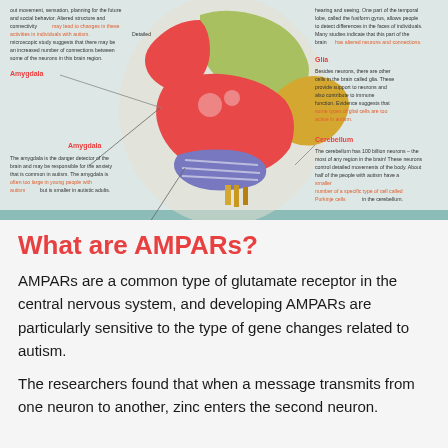[Figure (infographic): Brain anatomy infographic showing labeled regions related to autism: Amygdala, Hippocampus, Glia, and Cerebellum. The brain is illustrated in colorful sections (red, green, blue, yellow, purple) on a teal background. Each region has a short text description. Some text is in red/orange indicating altered activity in autism.]
What are AMPARs?
AMPARs are a common type of glutamate receptor in the central nervous system, and developing AMPARs are particularly sensitive to the type of gene changes related to autism.
The researchers found that when a message transmits from one neuron to another, zinc enters the second neuron.